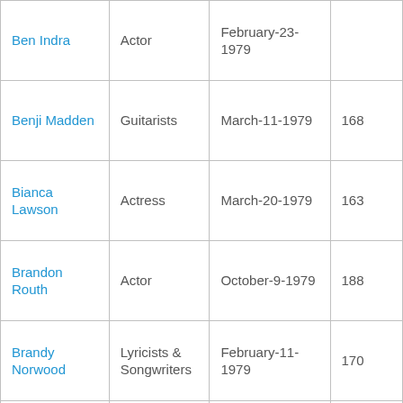| Ben Indra | Actor | February-23-1979 |  |
| Benji Madden | Guitarists | March-11-1979 | 168 |
| Bianca Lawson | Actress | March-20-1979 | 163 |
| Brandon Routh | Actor | October-9-1979 | 188 |
| Brandy Norwood | Lyricists & Songwriters | February-11-1979 | 170 |
| Brooke Baldwin | Journalists | July-12-1979 | 175 |
| Cameron Richardson | Actress | September-11-1979 | 173 |